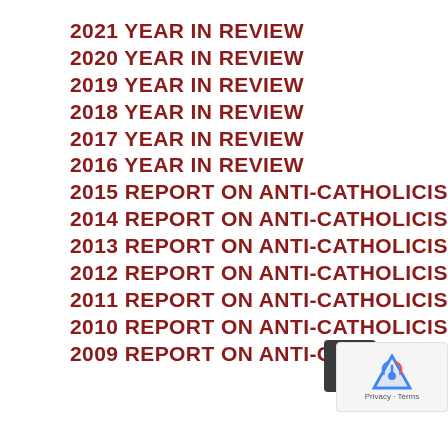2021 YEAR IN REVIEW
2020 YEAR IN REVIEW
2019 YEAR IN REVIEW
2018 YEAR IN REVIEW
2017 YEAR IN REVIEW
2016 YEAR IN REVIEW
2015 REPORT ON ANTI-CATHOLICISM
2014 REPORT ON ANTI-CATHOLICISM
2013 REPORT ON ANTI-CATHOLICISM
2012 REPORT ON ANTI-CATHOLICISM
2011 REPORT ON ANTI-CATHOLICISM
2010 REPORT ON ANTI-CATHOLICISM
2009 REPORT ON ANTI-CATHOLICISM